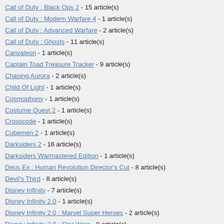Call of Duty : Black Ops 2 - 15 article(s)
Call of Duty : Modern Warfare 4 - 1 article(s)
Call of Duty : Advanced Warfare - 2 article(s)
Call of Duty : Ghosts - 11 article(s)
Canvaleon - 1 article(s)
Captain Toad Treasure Tracker - 9 article(s)
Chasing Aurora - 2 article(s)
Child Of Light - 1 article(s)
Cosmophony - 1 article(s)
Costume Quest 2 - 1 article(s)
Crosscode - 1 article(s)
Cubemen 2 - 1 article(s)
Darksiders 2 - 16 article(s)
Darksiders Warmastered Edition - 1 article(s)
Deus Ex : Human Revolution Director's Cut - 8 article(s)
Devil's Third - 8 article(s)
Disney Infinity - 7 article(s)
Disney Infinity 2.0 - 1 article(s)
Disney Infinity 2.0 : Marvel Super Heroes - 2 article(s)
Disney Infinity 3.0 : Star Wars - 8 article(s)
Disney's Planes - 1 article(s)
Donkey Kong Country - 1 article(s)
Donkey Kong Country 3 - 1 article(s)
Donkey Kong Country Tropical Freeze - 15 article(s)
Dragon Quest X Wii U - 26 article(s)